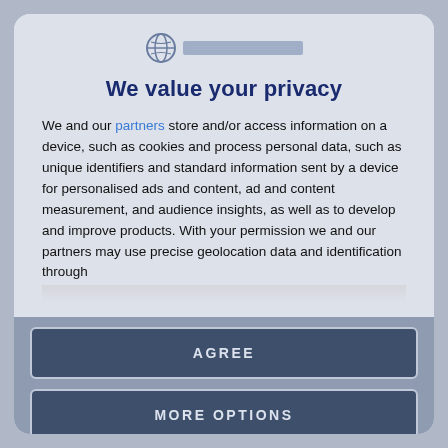[Figure (logo): Website logo icon and text bar, centered at top of privacy consent dialog]
We value your privacy
We and our partners store and/or access information on a device, such as cookies and process personal data, such as unique identifiers and standard information sent by a device for personalised ads and content, ad and content measurement, and audience insights, as well as to develop and improve products. With your permission we and our partners may use precise geolocation data and identification through device scanning. You may click to consent to our and our partners'
AGREE
MORE OPTIONS
DISAGREE